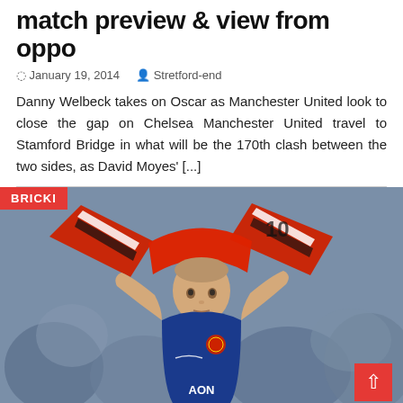match preview & view from oppo
January 19, 2014   Stretford-end
Danny Welbeck takes on Oscar as Manchester United look to close the gap on Chelsea Manchester United travel to Stamford Bridge in what will be the 170th clash between the two sides, as David Moyes' [...]
[Figure (photo): A young child wearing a Manchester United AON jersey holding up a red and white scarf above their head, with a crowd in the background. A red BRICKI badge is overlaid in the top-left corner.]